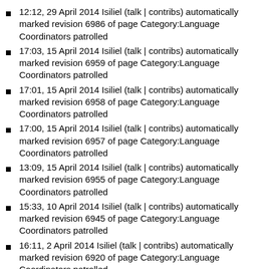12:12, 29 April 2014 Isiliel (talk | contribs) automatically marked revision 6986 of page Category:Language Coordinators patrolled
17:03, 15 April 2014 Isiliel (talk | contribs) automatically marked revision 6959 of page Category:Language Coordinators patrolled
17:01, 15 April 2014 Isiliel (talk | contribs) automatically marked revision 6958 of page Category:Language Coordinators patrolled
17:00, 15 April 2014 Isiliel (talk | contribs) automatically marked revision 6957 of page Category:Language Coordinators patrolled
13:09, 15 April 2014 Isiliel (talk | contribs) automatically marked revision 6955 of page Category:Language Coordinators patrolled
15:33, 10 April 2014 Isiliel (talk | contribs) automatically marked revision 6945 of page Category:Language Coordinators patrolled
16:11, 2 April 2014 Isiliel (talk | contribs) automatically marked revision 6920 of page Category:Language Coordinators patrolled
15:58, 18 March 2014 Isiliel (talk | contribs) automatically marked revision 6878 of page Category:Language Coordinators patrolled
15:41, 18 March 2014 Isiliel (talk | contribs) automatically